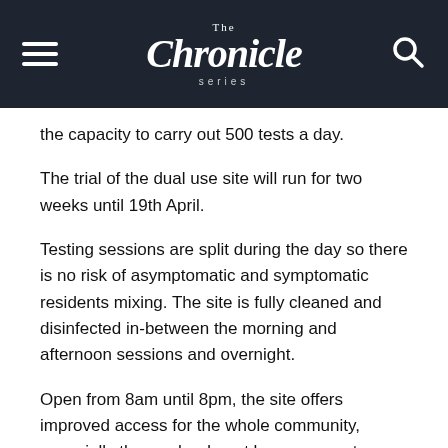The Chronicle Series
the capacity to carry out 500 tests a day.
The trial of the dual use site will run for two weeks until 19th April.
Testing sessions are split during the day so there is no risk of asymptomatic and symptomatic residents mixing. The site is fully cleaned and disinfected in-between the morning and afternoon sessions and overnight.
Open from 8am until 8pm, the site offers improved access for the whole community, especially those who do not have access to a car.